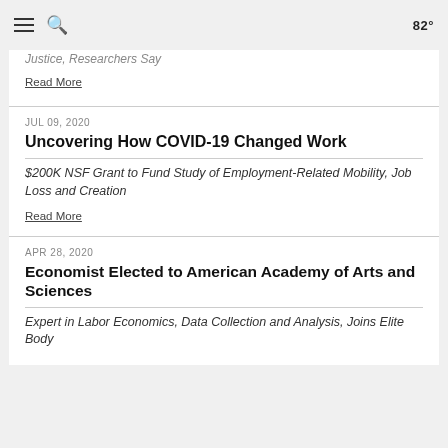82°
Justice, Researchers Say
Read More
JUL 09, 2020
Uncovering How COVID-19 Changed Work
$200K NSF Grant to Fund Study of Employment-Related Mobility, Job Loss and Creation
Read More
APR 28, 2020
Economist Elected to American Academy of Arts and Sciences
Expert in Labor Economics, Data Collection and Analysis, Joins Elite Body